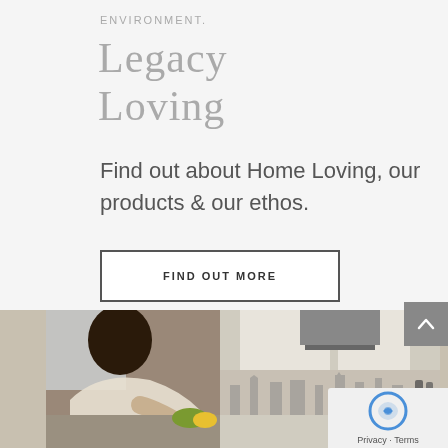ENVIRONMENT.
Legacy Loving
Find out about Home Loving, our products & our ethos.
FIND OUT MORE
[Figure (photo): Woman cooking in a modern kitchen with a city skyline backsplash]
[Figure (other): reCAPTCHA logo with Privacy - Terms text]